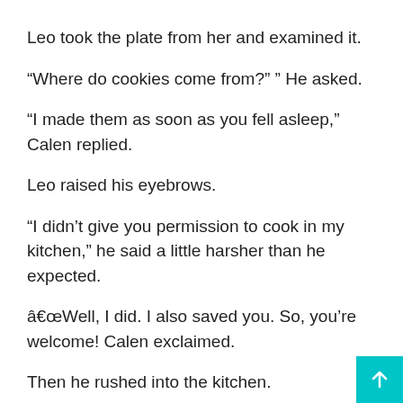Leo took the plate from her and examined it.
“Where do cookies come from?” ” He asked.
“I made them as soon as you fell asleep,” Calen replied.
Leo raised his eyebrows.
“I didn’t give you permission to cook in my kitchen,” he said a little harsher than he expected.
â€œWell, I did. I also saved you. So, you’re welcome! Calen exclaimed.
Then he rushed into the kitchen.
Leo looked down at his plate, feeling quite guilty. He took a bite of the pancakes and was surprised to see that the pancakes tasted so nice, Leo couldn’t put his finger on them. He finish eating quickly and headed for the kitchen. Calen stirred a la→←←